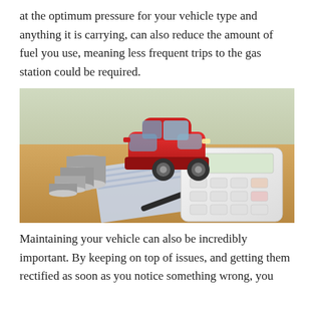at the optimum pressure for your vehicle type and anything it is carrying, can also reduce the amount of fuel you use, meaning less frequent trips to the gas station could be required.
[Figure (photo): A red toy car sitting on a wooden surface next to stacked coins, a pen, an insurance document, and a white calculator.]
Maintaining your vehicle can also be incredibly important. By keeping on top of issues, and getting them rectified as soon as you notice something wrong, you